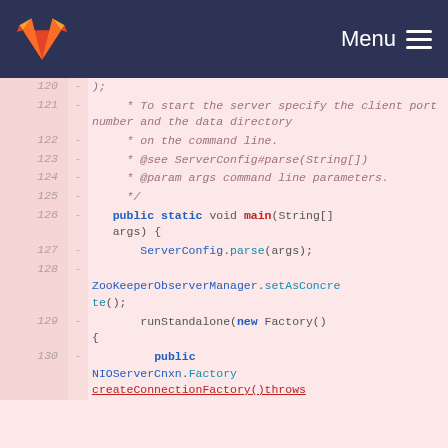Menu
[Figure (screenshot): GitLab code diff view showing Java source code lines 120-130, with deleted lines (marked with -) on a pink/red background. Lines include Javadoc comments and Java method code including public static void main(String[] args), ServerConfig.parse(args), ZooKeeperObserverManager.setAsConcrete(), runStandalone(new Factory() {, and public NIOServerCnxn.Factory createConnectionFactory()throws.]